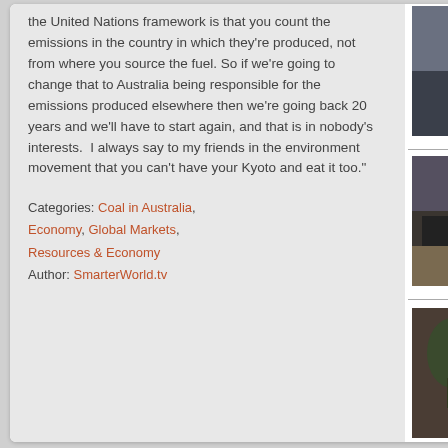the United Nations framework is that you count the emissions in the country in which they're produced, not from where you source the fuel. So if we're going to change that to Australia being responsible for the emissions produced elsewhere then we're going back 20 years and we'll have to start again, and that is in nobody's interests. I always say to my friends in the environment movement that you can't have your Kyoto and eat it too."
Categories: Coal in Australia, Economy, Global Markets, Resources & Economy
Author: SmarterWorld.tv
[Figure (photo): Man in suit gesturing with hand, appears to be in an interview or office setting]
[Figure (photo): Bald man in suit sitting at a desk in an office, interview setting]
[Figure (photo): Woman with dark curly hair wearing red jacket, interview setting]